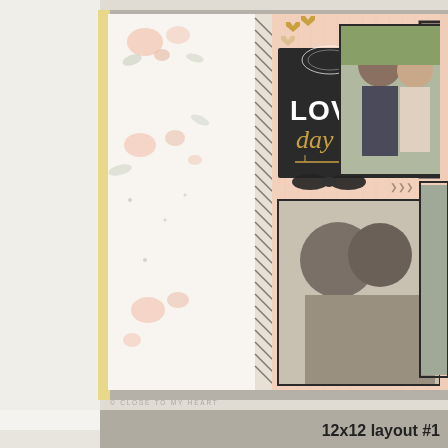[Figure (photo): A scrapbook layout titled 'Lovely Day' featuring floral patterned paper on the left page, a black chalkboard-style title block with gold heart embellishments, and multiple romantic couple photographs on a pink background. The photos show a couple in nature settings. A copyright mark reads '© CLOSE TO MY HEART'.]
12x12 layout #1